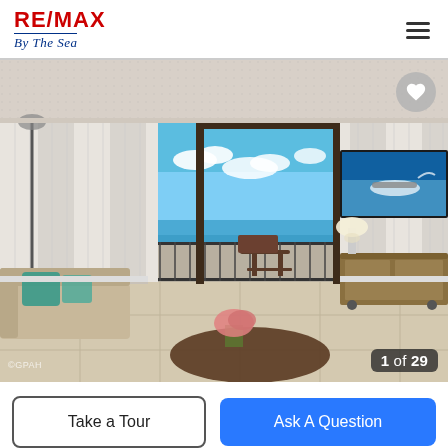[Figure (logo): RE/MAX By The Sea logo with RE/MAX in bold blue and red, and 'By The Sea' in italic script below with underline]
[Figure (photo): Interior photo of a beach condo living room with ocean view through sliding glass doors, white curtains, sofa with teal pillows, round coffee table with pink flowers, TV on wall showing jet ski, balcony with chairs. Counter shows '1 of 29'.]
1 of 29
Take a Tour
Ask A Question